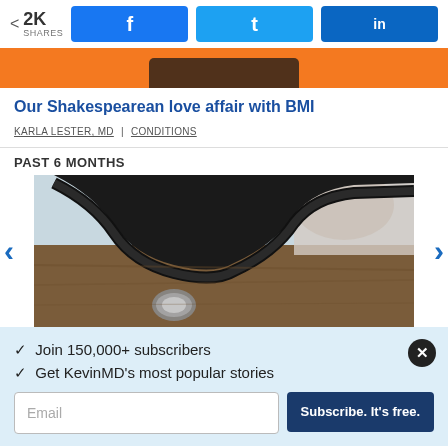2K SHARES | Facebook share | Twitter share | LinkedIn share
[Figure (photo): Orange banner with dark device silhouette at bottom]
Our Shakespearean love affair with BMI
KARLA LESTER, MD | CONDITIONS
PAST 6 MONTHS
[Figure (photo): Close-up photograph of a stethoscope on a wooden surface with blurred background]
✓ Join 150,000+ subscribers
✓ Get KevinMD's most popular stories
Email | Subscribe. It's free.